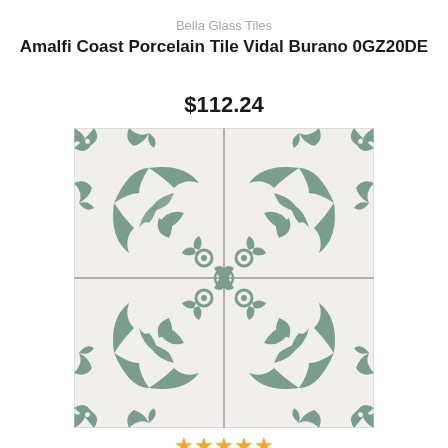Bella Glass Tiles
Amalfi Coast Porcelain Tile Vidal Burano 0GZ20DE
$112.24
[Figure (photo): Decorative porcelain tile with a sage green and white medallion floral pattern shown as a 2x2 tile arrangement. The pattern features scrolling vines, leaves, and a central circular medallion motif.]
★★★★★